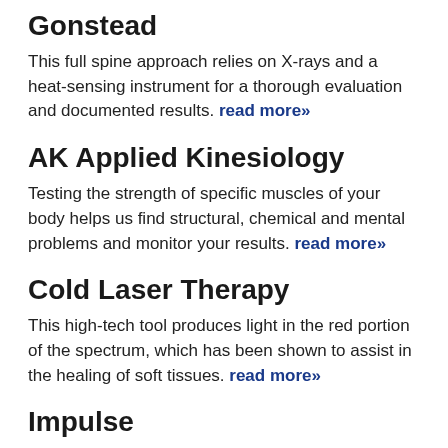Gonstead
This full spine approach relies on X-rays and a heat-sensing instrument for a thorough evaluation and documented results. read more»
AK Applied Kinesiology
Testing the strength of specific muscles of your body helps us find structural, chemical and mental problems and monitor your results. read more»
Cold Laser Therapy
This high-tech tool produces light in the red portion of the spectrum, which has been shown to assist in the healing of soft tissues. read more»
Impulse